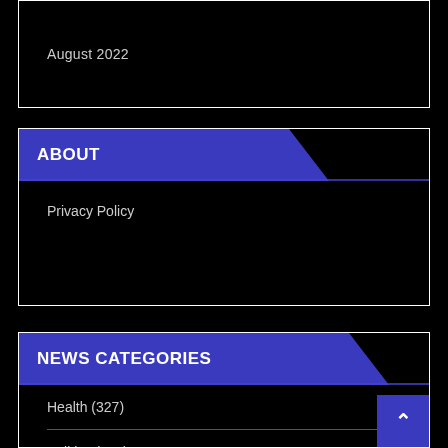August 2022
ABOUT
Privacy Policy
NEWS CATEGORIES
Health (327)
Politics (334)